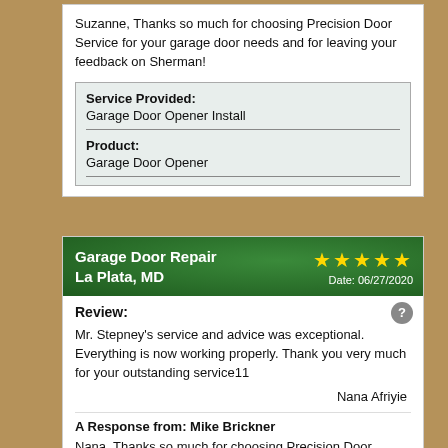Suzanne, Thanks so much for choosing Precision Door Service for your garage door needs and for leaving your feedback on Sherman!
| Service Provided: | Garage Door Opener Install |
| Product: | Garage Door Opener |
Garage Door Repair La Plata, MD ★★★★★ Date: 06/27/2020
Review:
Mr. Stepney's service and advice was exceptional. Everything is now working properly. Thank you very much for your outstanding service11
Nana Afriyie
A Response from: Mike Brickner
Nana, Thanks so much for choosing Precision Door Service for